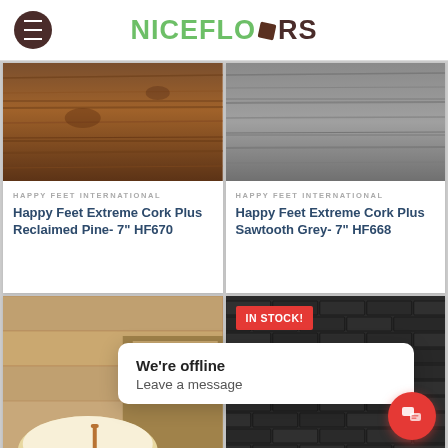NICEFLOORS
[Figure (photo): Wood flooring texture - Reclaimed Pine warm brown tones]
HAPPY FEET INTERNATIONAL
Happy Feet Extreme Cork Plus Reclaimed Pine- 7" HF670
[Figure (photo): Wood flooring texture - Sawtooth Grey cool grey tones]
HAPPY FEET INTERNATIONAL
Happy Feet Extreme Cork Plus Sawtooth Grey- 7" HF668
[Figure (photo): Bathroom interior with freestanding tub and light grey wood-look flooring]
[Figure (photo): Dark charcoal brick wall with white sofa - IN STOCK! badge visible]
We're offline
Leave a message
HAPPY FEET INTERNATIONAL
HAPPY FEET INTERNATIONAL